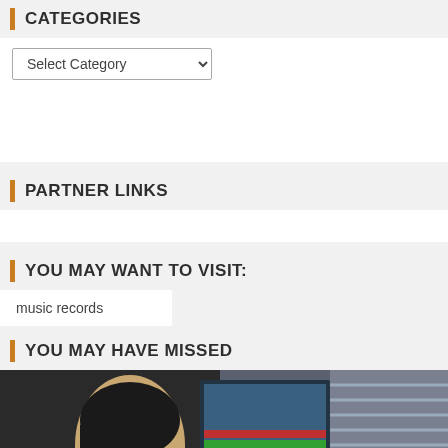CATEGORIES
Select Category
PARTNER LINKS
YOU MAY WANT TO VISIT:
music records
YOU MAY HAVE MISSED
[Figure (photo): A person wearing blue safety glasses and a white lab coat working at a computer monitor in a laboratory setting.]